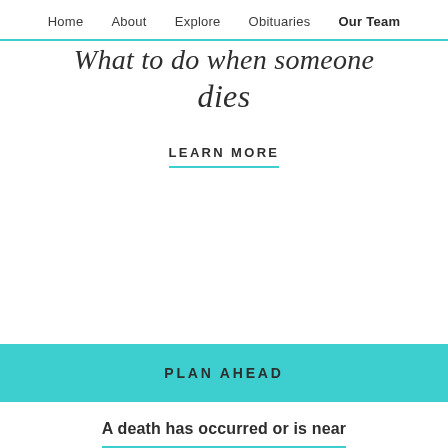Home   About   Explore   Obituaries   Our Team
What to do when someone dies
LEARN MORE
PLAN AHEAD
A death has occurred or is near